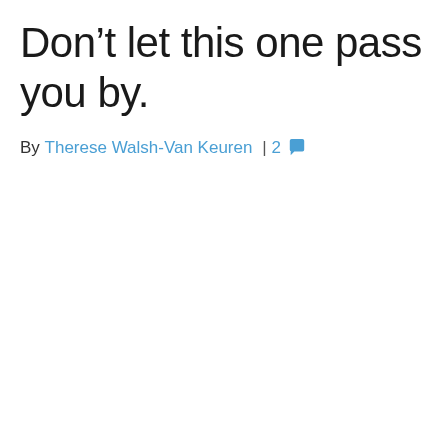Don’t let this one pass you by.
By Therese Walsh-Van Keuren | 2 💬